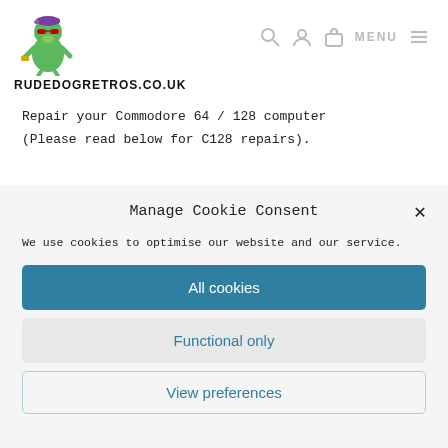[Figure (logo): Cartoon green dog character with sunglasses and cap, site logo for RUDEDOGRETROS.CO.UK]
RUDEDOGRETROS.CO.UK
Repair your Commodore 64 / 128 computer (Please read below for C128 repairs).
Manage Cookie Consent
We use cookies to optimise our website and our service.
All cookies
Functional only
View preferences